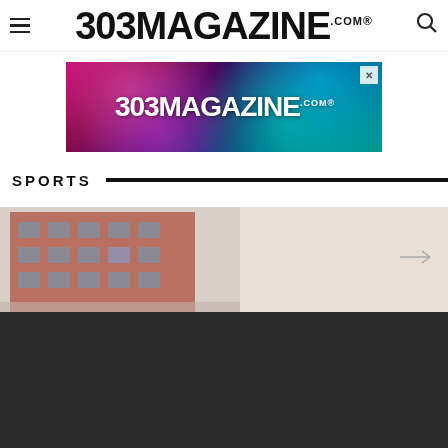303 MAGAZINE.COM
[Figure (photo): 303 Magazine advertisement banner with colorful bokeh background]
SPORTS
[Figure (photo): Partial photo of a red brick building exterior, with dark lower portion]